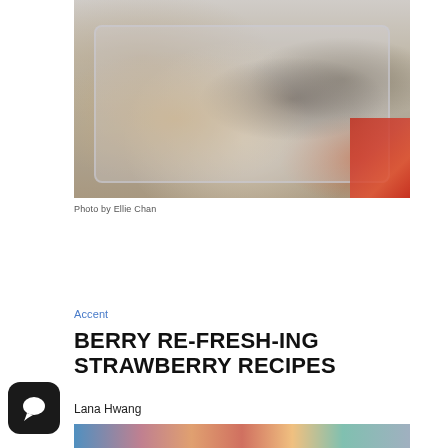[Figure (photo): A plastic container with rice balls or mochi dessert topped with sesame seeds and dark crumbled toppings, placed on a dark surface with a red and gold decorated package visible at the right edge.]
Photo by Ellie Chan
Accent
BERRY RE-FRESH-ING STRAWBERRY RECIPES
Lana Hwang
[Figure (photo): Partial view of a colorful food photograph at the bottom of the page.]